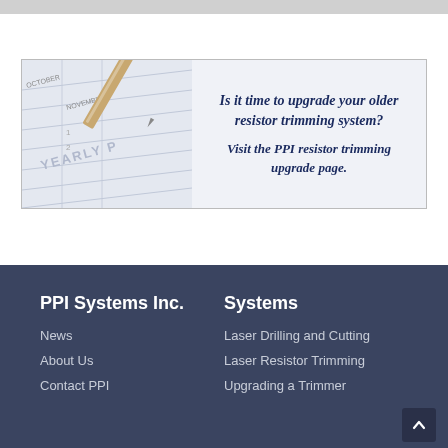[Figure (screenshot): Banner image showing a yearly planner notebook with a pen, alongside promotional text about upgrading resistor trimming systems. Text reads: 'Is it time to upgrade your older resistor trimming system? Visit the PPI resistor trimming upgrade page.']
PPI Systems Inc.
News
About Us
Contact PPI
Systems
Laser Drilling and Cutting
Laser Resistor Trimming
Upgrading a Trimmer